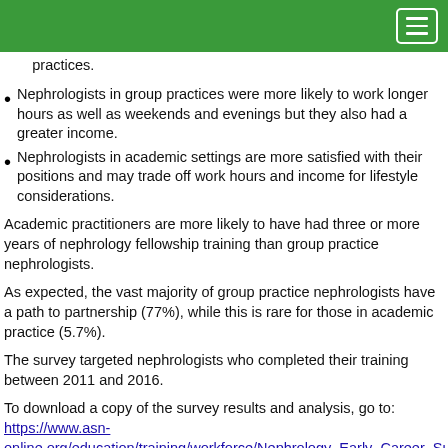practices.
Nephrologists in group practices were more likely to work longer hours as well as weekends and evenings but they also had a greater income.
Nephrologists in academic settings are more satisfied with their positions and may trade off work hours and income for lifestyle considerations.
Academic practitioners are more likely to have had three or more years of nephrology fellowship training than group practice nephrologists.
As expected, the vast majority of group practice nephrologists have a path to partnership (77%), while this is rare for those in academic practice (5.7%).
The survey targeted nephrologists who completed their training between 2011 and 2016.
To download a copy of the survey results and analysis, go to: https://www.asn-online.org/education/training/workforce/Nephrology_Early_Career_Sur